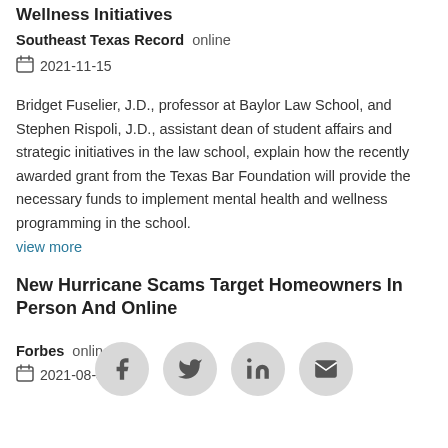Wellness Initiatives
Southeast Texas Record  online
2021-11-15
Bridget Fuselier, J.D., professor at Baylor Law School, and Stephen Rispoli, J.D., assistant dean of student affairs and strategic initiatives in the law school, explain how the recently awarded grant from the Texas Bar Foundation will provide the necessary funds to implement mental health and wellness programming in the school.
view more
New Hurricane Scams Target Homeowners In Person And Online
Forbes  online
2021-08-31